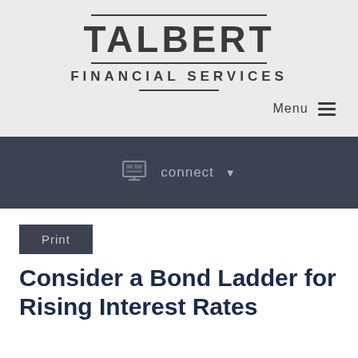[Figure (logo): Talbert Financial Services logo with horizontal rules above and below TALBERT text and below FINANCIAL SERVICES text]
Menu ≡
connect ▾
Print
Consider a Bond Ladder for Rising Interest Rates